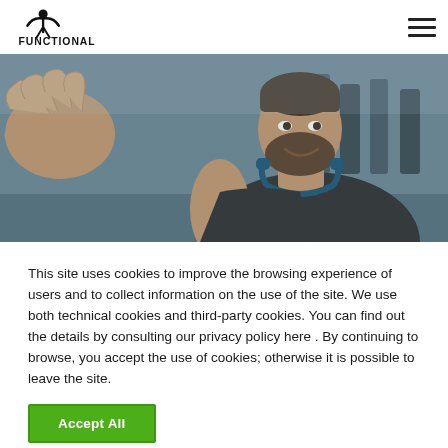FUNCTIONAL [logo with figure]
[Figure (photo): A bearded man in a dark sleeveless top with headphones around his neck sitting in a gym, looking upward, with a hand gesture visible on the left side of the frame.]
This site uses cookies to improve the browsing experience of users and to collect information on the use of the site. We use both technical cookies and third-party cookies. You can find out the details by consulting our privacy policy here . By continuing to browse, you accept the use of cookies; otherwise it is possible to leave the site.
Accept All